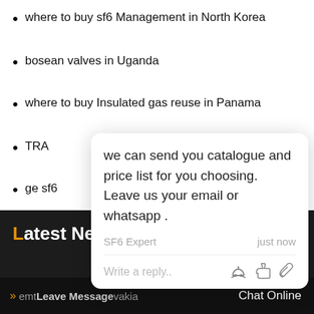where to buy sf6 Management in North Korea
bosean valves in Uganda
where to buy Insulated gas reuse in Panama
TRA[truncated by popup] ia
ge sf[truncated by popup]
How [truncated by popup] es in United King[dom]
best s[truncated by popup]
[Figure (screenshot): Chat popup overlay with message: 'we can send you catalogue and price list for you choosing. Leave us your email or whatsapp .' From SF6 Expert, just now. Write a reply input box with thumbs up and paperclip icons.]
[Figure (screenshot): Green circular chat bubble button with badge showing count 1]
Latest News
[Figure (photo): Customer service agent woman with headset, circular photo]
Leave Message
emt[truncated]vakia
Chat Online
[Figure (illustration): Orange circular scroll-to-top chevron button]